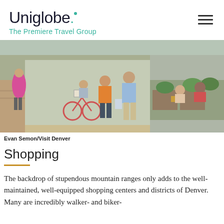Uniglobe. The Premiere Travel Group
[Figure (photo): Street scene with people walking and cycling on a sunny day in Denver, including a woman in an orange top and a man in a blue shirt in the foreground, with outdoor cafe seating on the right.]
Evan Semon/Visit Denver
Shopping
The backdrop of stupendous mountain ranges only adds to the well-maintained, well-equipped shopping centers and districts of Denver. Many are incredibly walker- and biker-